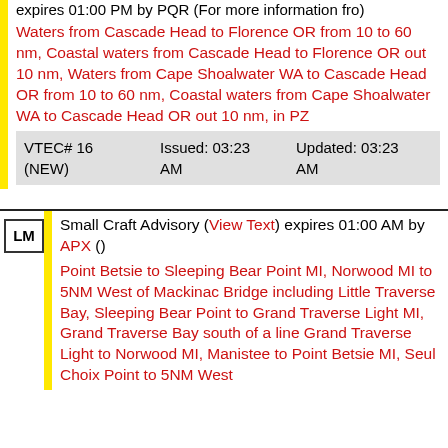expires 01:00 PM by PQR (For more information fro)
Waters from Cascade Head to Florence OR from 10 to 60 nm, Coastal waters from Cascade Head to Florence OR out 10 nm, Waters from Cape Shoalwater WA to Cascade Head OR from 10 to 60 nm, Coastal waters from Cape Shoalwater WA to Cascade Head OR out 10 nm, in PZ
| VTEC# 16 (NEW) | Issued: 03:23 AM | Updated: 03:23 AM |
| --- | --- | --- |
Small Craft Advisory (View Text) expires 01:00 AM by APX ()
Point Betsie to Sleeping Bear Point MI, Norwood MI to 5NM West of Mackinac Bridge including Little Traverse Bay, Sleeping Bear Point to Grand Traverse Light MI, Grand Traverse Bay south of a line Grand Traverse Light to Norwood MI, Manistee to Point Betsie MI, Seul Choix Point to 5NM West